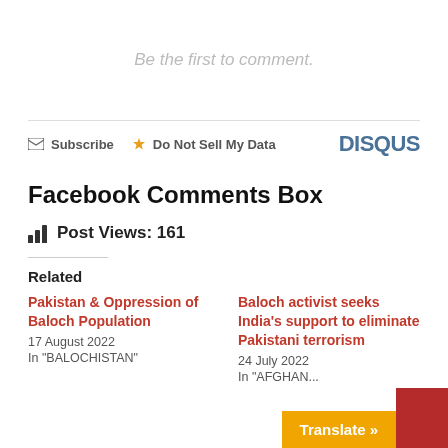Be the first to comment.
Subscribe  Do Not Sell My Data  DISQUS
Facebook Comments Box
Post Views: 161
Related
Pakistan & Oppression of Baloch Population
17 August 2022
In "BALOCHISTAN"
Baloch activist seeks India's support to eliminate Pakistani terrorism
24 July 2022
In "AFGHAN..."
Translate »